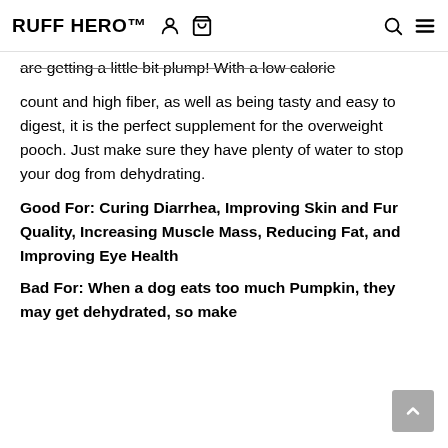RUFF HERO™
are getting a little bit plump! With a low calorie count and high fiber, as well as being tasty and easy to digest, it is the perfect supplement for the overweight pooch. Just make sure they have plenty of water to stop your dog from dehydrating.
Good For: Curing Diarrhea, Improving Skin and Fur Quality, Increasing Muscle Mass, Reducing Fat, and Improving Eye Health
Bad For: When a dog eats too much Pumpkin, they may get dehydrated, so make